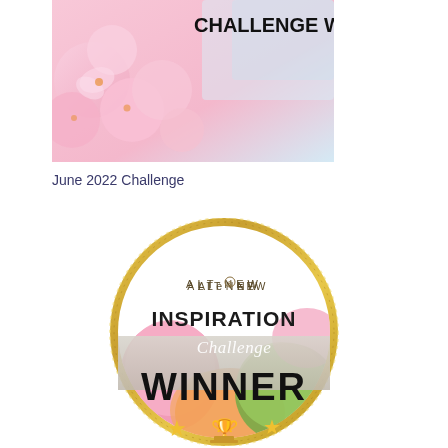[Figure (illustration): Banner image with pink cherry blossoms and text 'CHALLENGE WINNER!!!' overlaid at the top left]
June 2022 Challenge
[Figure (logo): Altenew Inspiration Challenge Winner badge - circular badge with gold glitter border, containing colorful macarons/balloon decorations, Altenew logo, 'INSPIRATION Challenge WINNER' text, and trophy emoji with stars]